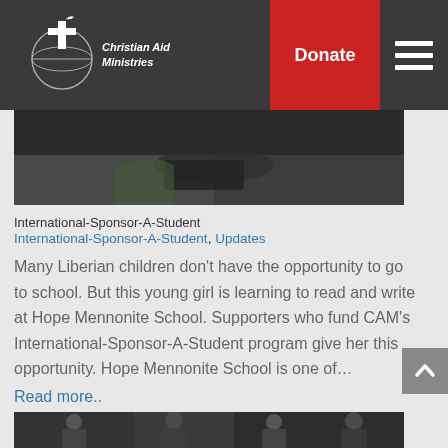Christian Aid Ministries | Donate
[Figure (photo): Partial photo of a child writing or reading, cropped at top]
International-Sponsor-A-Student
International-Sponsor-A-Student, Updates
Many Liberian children don’t have the opportunity to go to school. But this young girl is learning to read and write at Hope Mennonite School. Supporters who fund CAM’s International-Sponsor-A-Student program give her this opportunity. Hope Mennonite School is one of…
Read more..
[Figure (photo): Bottom partial photo showing group of people, cropped at bottom of page]